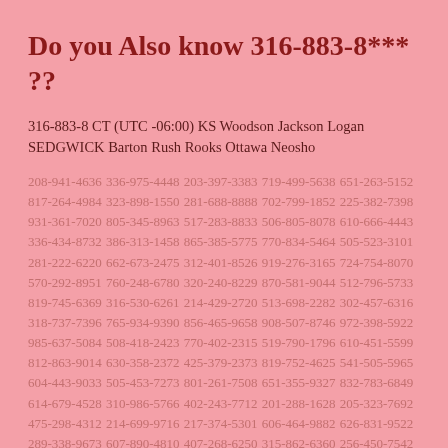Do you Also know 316-883-8*** ??
316-883-8 CT (UTC -06:00) KS Woodson Jackson Logan SEDGWICK Barton Rush Rooks Ottawa Neosho
208-941-4636 336-975-4448 203-397-3383 719-499-5638 651-263-5152 817-264-4984 323-898-1550 281-688-8888 702-799-1852 225-382-7398 931-361-7020 805-345-8963 517-283-8833 506-805-8078 610-666-4443 336-434-8732 386-313-1458 865-385-5775 770-834-5464 505-523-3101 281-222-6220 662-673-2475 312-401-8526 919-276-3165 724-754-8070 570-292-8951 760-248-6780 320-240-8229 870-581-9044 512-796-5733 819-745-6369 316-530-6261 214-429-2720 513-698-2282 302-457-6316 318-737-7396 765-934-9390 856-465-9658 908-507-8746 972-398-5922 985-637-5084 508-418-2423 770-402-2315 519-790-1796 610-451-5599 812-863-9014 630-358-2372 425-379-2373 819-752-4625 541-505-5965 604-443-9033 505-453-7273 801-261-7508 651-355-9327 832-783-6849 614-679-4528 310-986-5766 402-243-7712 201-288-1628 205-323-7692 475-298-4312 214-699-9716 217-374-5301 606-464-9882 626-831-9522 289-338-9673 607-890-4810 407-268-6250 315-862-6360 256-450-7542 912-767-4649 850-867-7632